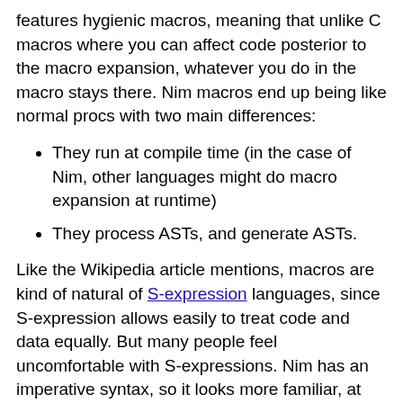features hygienic macros, meaning that unlike C macros where you can affect code posterior to the macro expansion, whatever you do in the macro stays there. Nim macros end up being like normal procs with two main differences:
They run at compile time (in the case of Nim, other languages might do macro expansion at runtime)
They process ASTs, and generate ASTs.
Like the Wikipedia article mentions, macros are kind of natural of S-expression languages, since S-expression allows easily to treat code and data equally. But many people feel uncomfortable with S-expressions. Nim has an imperative syntax, so it looks more familiar, at the cost of being more verbose. The availability of modifying the ASTs is also limited. In a text macro implementation you can change whatever you want,